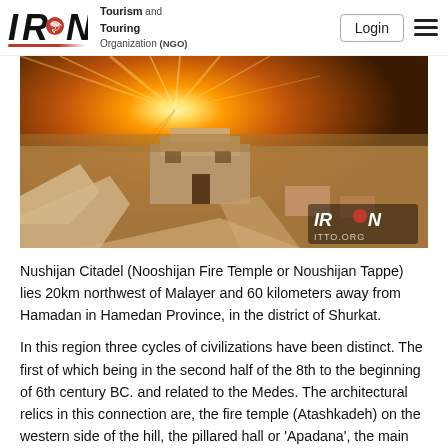IRAN Tourism and Touring Organization (NGO) | Login
[Figure (photo): Aerial/elevated view of Nushijan Citadel ancient ruins at sunset with golden sunburst rays over flat arid landscape, stone structures visible, IRAN ITTO.ORG watermark in bottom right]
Nushijan Citadel (Nooshijan Fire Temple or Noushijan Tappe) lies 20km northwest of Malayer and 60 kilometers away from Hamadan in Hamedan Province, in the district of Shurkat.
In this region three cycles of civilizations have been distinct. The first of which being in the second half of the 8th to the beginning of 6th century BC. and related to the Medes. The architectural relics in this connection are, the fire temple (Atashkadeh) on the western side of the hill, the pillared hall or 'Apadana', the main hall